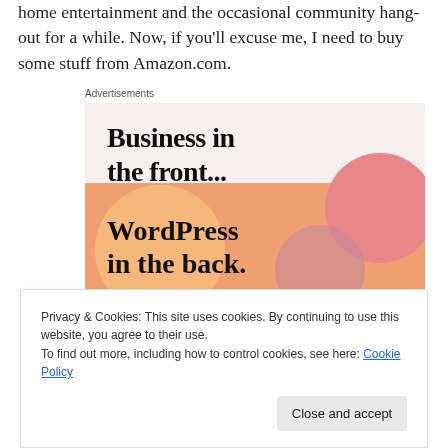home entertainment and the occasional community hang-out for a while. Now, if you'll excuse me, I need to buy some stuff from Amazon.com.
[Figure (other): Advertisement banner for WordPress: upper half shows 'Business in the front...' text on light beige background; lower half shows 'WordPress in the back.' text on orange/peach background with colorful overlapping circles]
Privacy & Cookies: This site uses cookies. By continuing to use this website, you agree to their use.
To find out more, including how to control cookies, see here: Cookie Policy